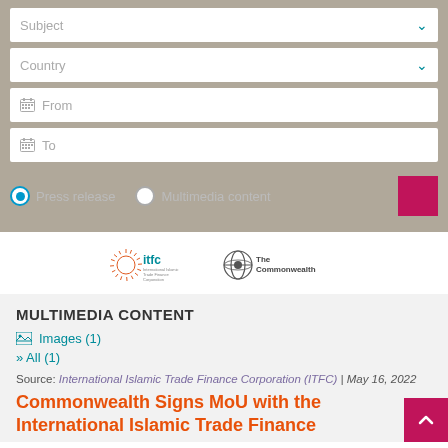[Figure (screenshot): Filter UI with Subject and Country dropdowns, From and To date pickers, Press release and Multimedia content radio buttons, and a pink search button]
[Figure (logo): ITFC (International Islamic Trade Finance Corporation) logo and The Commonwealth logo side by side]
MULTIMEDIA CONTENT
Images (1)
» All (1)
Source: International Islamic Islamic Trade Finance Corporation (ITFC) | May 16, 2022
Commonwealth Signs MoU with the International Islamic Trade Finance